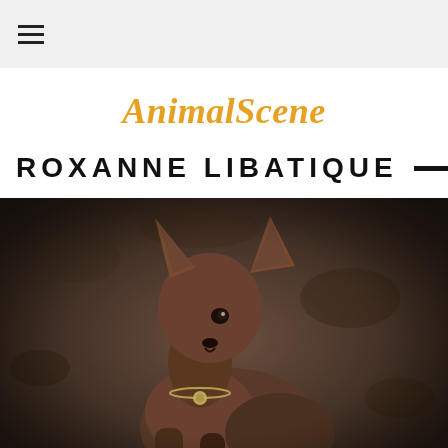≡
AnimalScene
ROXANNE LIBATIQUE
[Figure (photo): A hairless dog (likely Xoloitzcuintli) wearing a small medallion necklace, posed against a dark textured stone wall background. The dog is looking slightly to the left, photographed in a dramatic, moody studio style.]